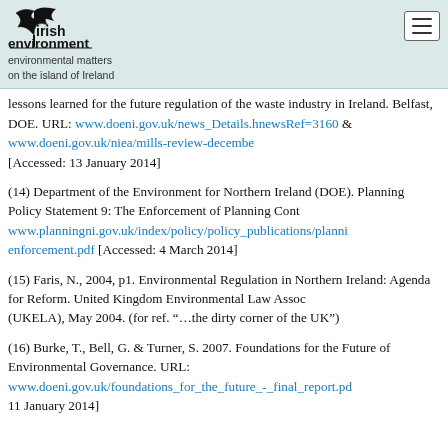Irish Environment — environmental matters on the island of Ireland
lessons learned for the future regulation of the waste industry in Ireland. Belfast, DOE. URL: www.doeni.gov.uk/news_Details.htm?newsRef=3160 & www.doeni.gov.uk/niea/mills-review-december [Accessed: 13 January 2014]
(14) Department of the Environment for Northern Ireland (DOE). Planning Policy Statement 9: The Enforcement of Planning Control. www.planningni.gov.uk/index/policy/policy_publications/planning_enforcement.pdf [Accessed: 4 March 2014]
(15) Faris, N., 2004, p1. Environmental Regulation in Northern Ireland: Agenda for Reform. United Kingdom Environmental Law Association (UKELA), May 2004. (for ref. “…the dirty corner of the UK”)
(16) Burke, T., Bell, G. & Turner, S. 2007. Foundations for the Future of Environmental Governance. URL: www.doeni.gov.uk/foundations_for_the_future_-_final_report.pdf [Accessed: 11 January 2014]